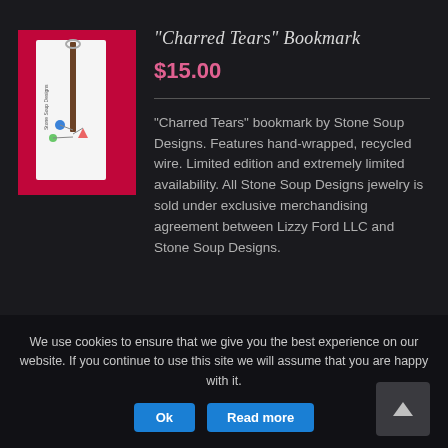[Figure (photo): Product photo of Charred Tears Bookmark on red background, showing a bookmark with hand-wrapped wire charms hanging from it, displayed on a white card with Stone Soup Designs branding.]
"Charred Tears" Bookmark
$15.00
"Charred Tears" bookmark by Stone Soup Designs. Features hand-wrapped, recycled wire. Limited edition and extremely limited availability. All Stone Soup Designs jewelry is sold under exclusive merchandising agreement between Lizzy Ford LLC and Stone Soup Designs.
We use cookies to ensure that we give you the best experience on our website. If you continue to use this site we will assume that you are happy with it.